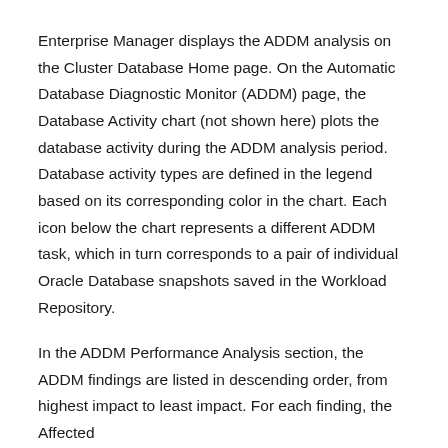Enterprise Manager displays the ADDM analysis on the Cluster Database Home page. On the Automatic Database Diagnostic Monitor (ADDM) page, the Database Activity chart (not shown here) plots the database activity during the ADDM analysis period. Database activity types are defined in the legend based on its corresponding color in the chart. Each icon below the chart represents a different ADDM task, which in turn corresponds to a pair of individual Oracle Database snapshots saved in the Workload Repository.
In the ADDM Performance Analysis section, the ADDM findings are listed in descending order, from highest impact to least impact. For each finding, the Affected